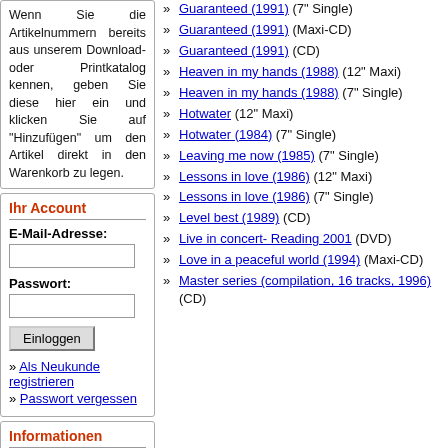Wenn Sie die Artikelnummern bereits aus unserem Download- oder Printkatalog kennen, geben Sie diese hier ein und klicken Sie auf "Hinzufügen" um den Artikel direkt in den Warenkorb zu legen.
Ihr Account
E-Mail-Adresse:
Passwort:
» Als Neukunde registrieren
» Passwort vergessen
Informationen
» Bestellbedingungen
» FAQ-Fragen und Antworten
» Guaranteed (1991) (7" Single)
» Guaranteed (1991) (Maxi-CD)
» Guaranteed (1991) (CD)
» Heaven in my hands (1988) (12" Maxi)
» Heaven in my hands (1988) (7" Single)
» Hotwater (12" Maxi)
» Hotwater (1984) (7" Single)
» Leaving me now (1985) (7" Single)
» Lessons in love (1986) (12" Maxi)
» Lessons in love (1986) (7" Single)
» Level best (1989) (CD)
» Live in concert- Reading 2001 (DVD)
» Love in a peaceful world (1994) (Maxi-CD)
» Master series (compilation, 16 tracks, 1996) (CD)